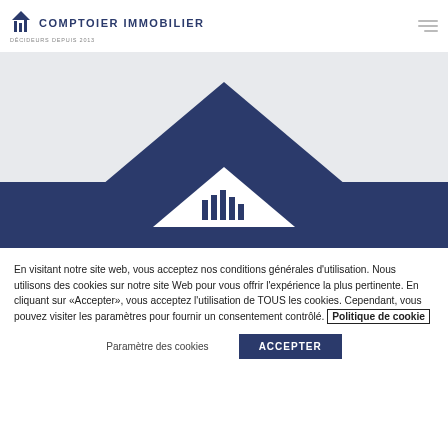[Figure (logo): Comptoier Immobilier logo with dark blue building/bar chart icon and text 'COMPTOIER IMMOBILIER, DÉCIDEURS DEPUIS 2013']
[Figure (illustration): Hero image with light gray background showing a large dark navy blue triangle/mountain shape with a smaller white triangle below containing bar chart bars, forming a stylized house/cityscape logo graphic]
En visitant notre site web, vous acceptez nos conditions générales d'utilisation. Nous utilisons des cookies sur notre site Web pour vous offrir l'expérience la plus pertinente. En cliquant sur «Accepter», vous acceptez l'utilisation de TOUS les cookies. Cependant, vous pouvez visiter les paramètres pour fournir un consentement contrôlé. Politique de cookie
Paramètre des cookies
ACCEPTER